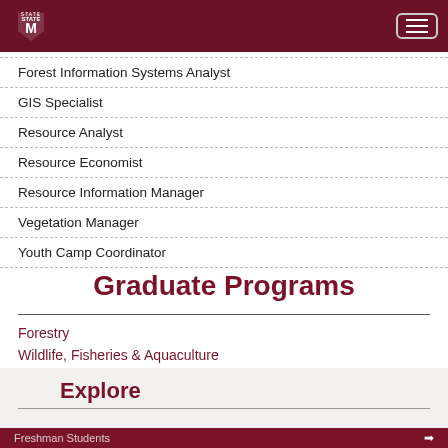Mississippi State University
Forest Information Systems Analyst
GIS Specialist
Resource Analyst
Resource Economist
Resource Information Manager
Vegetation Manager
Youth Camp Coordinator
Graduate Programs
Forestry
Wildlife, Fisheries & Aquaculture
Sustainbale Bioproducts
Explore
Freshman Students